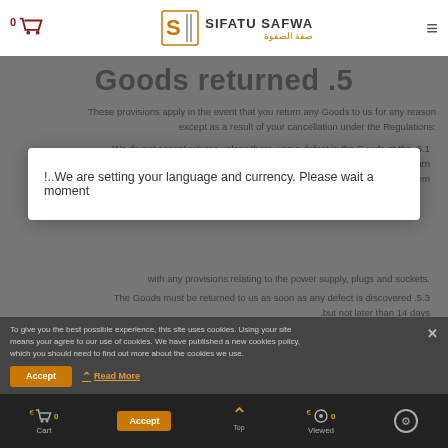[Figure (logo): Sifatu Safwa e-commerce website header with cart icon, logo, and hamburger menu]
Goods returned .5
These provisions apply in the event that you return any Goods to us for any reason except as a result of your cancellation under the Regulations:
5.1. We do not accept returns unless there was a defect in the Goods at the time of purchase, or we have agreed in correspondence that you may return them
5.2. [partially obscured] with any provisions relating to the power supply, plugs and sockets.
5.3. The Goods must be returned to us as soon as any defect is discovered but not later than 14 days.
5.4. So far as possible, Goods should be returned:
5.4.1 with both Goods and all packaging as far as possible in their original condition
We are setting your language and currency. Please wait a moment!..
To give you the best possible experience, this site uses cookies. Using your site means your agree to our use of cookies. We have published a new cookies policy, which you should need to find out more about the cookies we use.
Cart  Viewed  Accept  Read More  Top